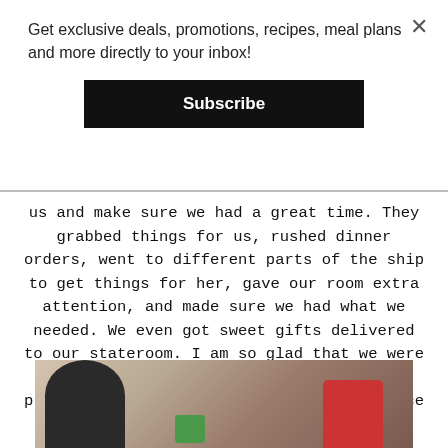Get exclusive deals, promotions, recipes, meal plans and more directly to your inbox!
Subscribe
us and make sure we had a great time. They grabbed things for us, rushed dinner orders, went to different parts of the ship to get things for her, gave our room extra attention, and made sure we had what we needed. We even got sweet gifts delivered to our stateroom. I am so glad that we were able to bring joy to the ship with our precious girl, and if you choose to embrace it you will be too!
[Figure (photo): Group of people seated around a table, appearing to dine together. One person in a dark shirt is visible from behind, and another in a red shirt is visible on the right side. A green mug is visible on the table.]